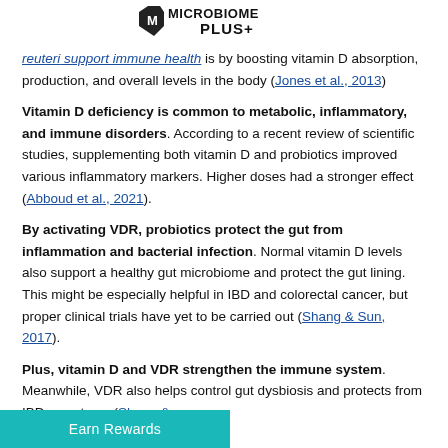[Figure (logo): Microbiome Plus+ logo with shield icon]
reuteri support immune health is by boosting vitamin D absorption, production, and overall levels in the body (Jones et al., 2013)
Vitamin D deficiency is common to metabolic, inflammatory, and immune disorders. According to a recent review of scientific studies, supplementing both vitamin D and probiotics improved various inflammatory markers. Higher doses had a stronger effect (Abboud et al., 2021).
By activating VDR, probiotics protect the gut from inflammation and bacterial infection. Normal vitamin D levels also support a healthy gut microbiome and protect the gut lining. This might be especially helpful in IBD and colorectal cancer, but proper clinical trials have yet to be carried out (Shang & Sun, 2017).
Plus, vitamin D and VDR strengthen the immune system. Meanwhile, VDR also helps control gut dysbiosis and protects from IBD symptoms (Shang &
Earn Rewards